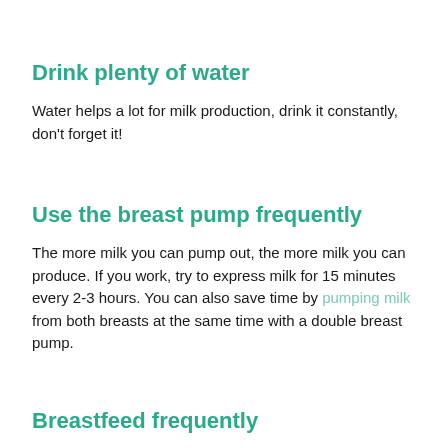Drink plenty of water
Water helps a lot for milk production, drink it constantly, don't forget it!
Use the breast pump frequently
The more milk you can pump out, the more milk you can produce. If you work, try to express milk for 15 minutes every 2-3 hours. You can also save time by pumping milk from both breasts at the same time with a double breast pump.
Breastfeed frequently